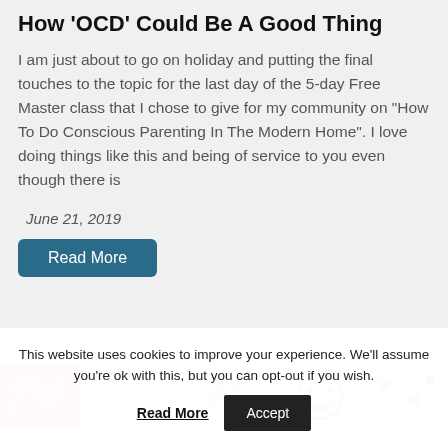How 'OCD' Could Be A Good Thing
I am just about to go on holiday and putting the final touches to the topic for the last day of the 5-day Free Master class that I chose to give for my community on "How To Do Conscious Parenting In The Modern Home". I love doing things like this and being of service to you even though there is
June 21, 2019
Read More
[Figure (photo): Colorful decorative image strip with bright swirling designs and smiley face doodles on white background]
This website uses cookies to improve your experience. We'll assume you're ok with this, but you can opt-out if you wish.
Accept
Read More